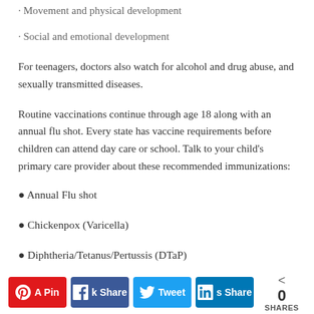· Movement and physical development
· Social and emotional development
For teenagers, doctors also watch for alcohol and drug abuse, and sexually transmitted diseases.
Routine vaccinations continue through age 18 along with an annual flu shot. Every state has vaccine requirements before children can attend day care or school. Talk to your child's primary care provider about these recommended immunizations:
● Annual Flu shot
● Chickenpox (Varicella)
● Diphtheria/Tetanus/Pertussis (DTaP)